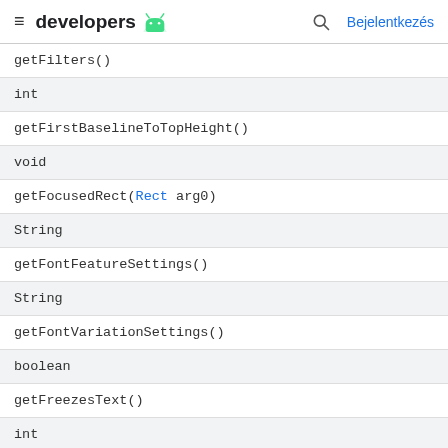≡ developers 🤖  🔍  Bejelentkezés
| getFilters() |
| int |
| getFirstBaselineToTopHeight() |
| void |
| getFocusedRect(Rect arg0) |
| String |
| getFontFeatureSettings() |
| String |
| getFontVariationSettings() |
| boolean |
| getFreezesText() |
| int |
| getGravity() |
| int |